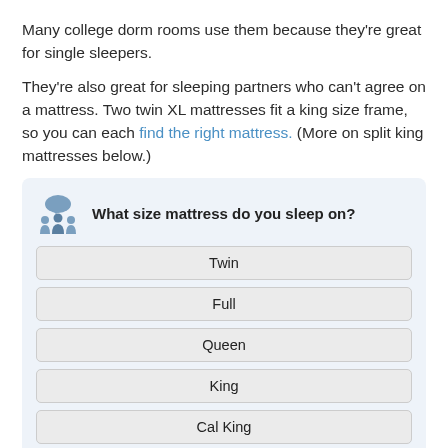Many college dorm rooms use them because they're great for single sleepers.
They're also great for sleeping partners who can't agree on a mattress. Two twin XL mattresses fit a king size frame, so you can each find the right mattress. (More on split king mattresses below.)
What size mattress do you sleep on?
Twin
Full
Queen
King
Cal King